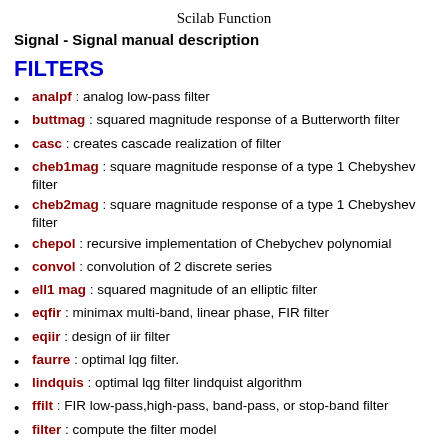Scilab Function
Signal - Signal manual description
FILTERS
analpf : analog low-pass filter
buttmag : squared magnitude response of a Butterworth filter
casc : creates cascade realization of filter
cheb1mag : square magnitude response of a type 1 Chebyshev filter
cheb2mag : square magnitude response of a type 1 Chebyshev filter
chepol : recursive implementation of Chebychev polynomial
convol : convolution of 2 discrete series
ell1 mag : squared magnitude of an elliptic filter
eqfir : minimax multi-band, linear phase, FIR filter
eqiir : design of iir filter
faurre : optimal lqg filter.
lindquis : optimal lqg filter lindquist algorithm
ffilt : FIR low-pass,high-pass, band-pass, or stop-band filter
filter : compute the filter model
find_freq : parameter compatibility for elliptic filter design
find... for elliptic filter design